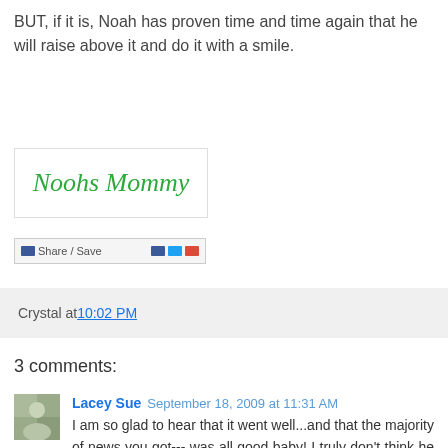BUT, if it is, Noah has proven time and time again that he will raise above it and do it with a smile.
[Figure (illustration): Noahs Mommy signature/logo in green cursive script inside a bordered box]
[Figure (screenshot): Share/Save social sharing button bar with Facebook, Twitter, and Google+ icons]
Crystal at 10:02 PM
3 comments:
Lacey Sue  September 18, 2009 at 11:31 AM
I am so glad to hear that it went well...and that the majority of news you got--- was all good baby! I truly don't think he has C.F. but better safe than sorry- that's Chad and I's motto about anything with the kids :)! I am glad he is doing well!! Loves to you Noah!